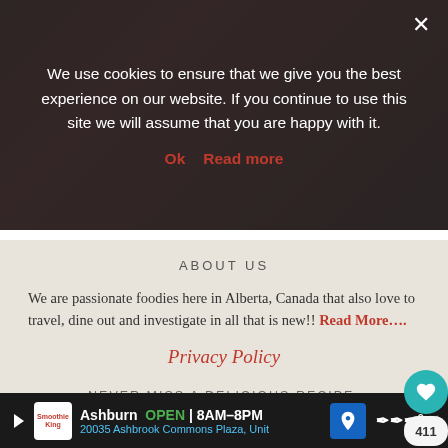[Figure (photo): Dark red/brown food photo background partially visible behind cookie consent overlay]
We use cookies to ensure that we give you the best experience on our website. If you continue to use this site we will assume that you are happy with it.
Ok   Read more
ABOUT US
We are passionate foodies here in Alberta, Canada that also love to travel, dine out and investigate in all that is new!! Read More....
Privacy Policy
NEVER MISS A DELICIOUS RECIPE, SUBSCRIBE TO OUR EMAILS
Ashburn OPEN | 8AM–8PM
20035 Ashbrook Commons Plaza, Unit